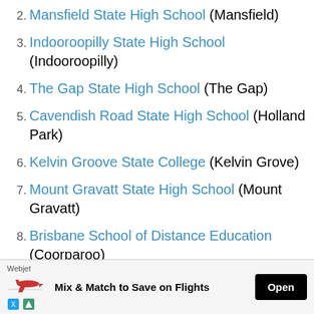2. Mansfield State High School (Mansfield)
3. Indooroopilly State High School (Indooroopilly)
4. The Gap State High School (The Gap)
5. Cavendish Road State High School (Holland Park)
6. Kelvin Groove State College (Kelvin Grove)
7. Mount Gravatt State High School (Mount Gravatt)
8. Brisbane School of Distance Education (Coorparoo)
9. Kenmore State High School (Kenmore)
10. Varsity College (Varsity Lakes
[Figure (other): Webjet advertisement banner: Mix & Match to Save on Flights, with Open button]